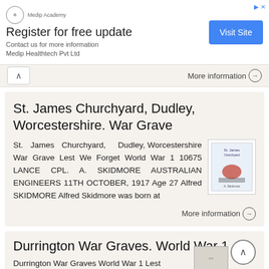[Figure (other): Advertisement banner for Medip Academy / Medip Healthtech Pvt Ltd with 'Register for free update' heading, 'Visit Site' button]
More information →
St. James Churchyard, Dudley, Worcestershire. War Grave
St. James Churchyard, Dudley, Worcestershire War Grave Lest We Forget World War 1 10675 LANCE CPL. A. SKIDMORE AUSTRALIAN ENGINEERS 11TH OCTOBER, 1917 Age 27 Alfred SKIDMORE Alfred Skidmore was born at
More information →
Durrington War Graves. World War 1
Durrington War Graves World War 1 Lest